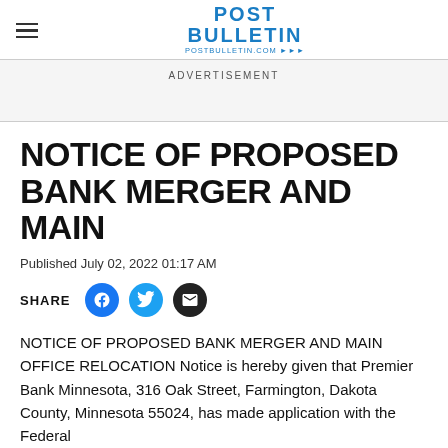POST BULLETIN postbulletin.com
ADVERTISEMENT
NOTICE OF PROPOSED BANK MERGER AND MAIN
Published July 02, 2022 01:17 AM
SHARE
NOTICE OF PROPOSED BANK MERGER AND MAIN OFFICE RELOCATION Notice is hereby given that Premier Bank Minnesota, 316 Oak Street, Farmington, Dakota County, Minnesota 55024, has made application with the Federal